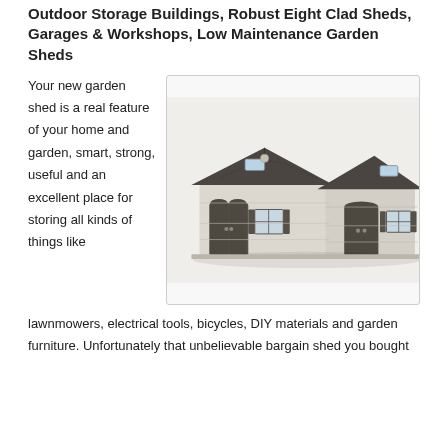Outdoor Storage Buildings, Robust Eight Clad Sheds, Garages & Workshops, Low Maintenance Garden Sheds
Your new garden shed is a real feature of your home and garden, smart, strong, useful and an excellent place for storing all kinds of things like
[Figure (photo): A large two-section garden shed with light beige/cream paneled walls, dark grey/charcoal double doors on the left section and a single door on the right section, windows with dark shutters, and a dark shingled peaked roof with two skylights.]
lawnmowers, electrical tools, bicycles, DIY materials and garden furniture. Unfortunately that unbelievable bargain shed you bought